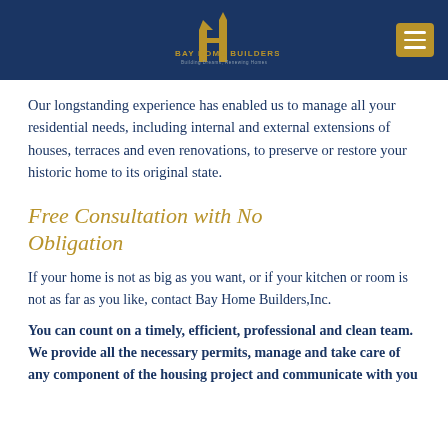[Figure (logo): Bay Home Builders logo with house/building icon in gold on dark navy header bar, with hamburger menu button on the right]
Our longstanding experience has enabled us to manage all your residential needs, including internal and external extensions of houses, terraces and even renovations, to preserve or restore your historic home to its original state.
Free Consultation with No Obligation
If your home is not as big as you want, or if your kitchen or room is not as far as you like, contact Bay Home Builders,Inc.
You can count on a timely, efficient, professional and clean team. We provide all the necessary permits, manage and take care of any component of the housing project and communicate with you